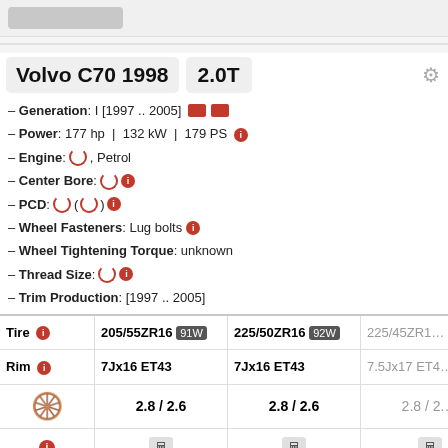Volvo C70 1998  2.0T
– Generation: I [1997 .. 2005]
– Power: 177 hp | 132 kW | 179 PS
– Engine: , Petrol
– Center Bore:
– PCD: ()
– Wheel Fasteners: Lug bolts
– Wheel Tightening Torque: unknown
– Thread Size:
– Trim Production: [1997 .. 2005]
| Tire | 205/55ZR16 91W | 225/50ZR16 92W | 225/45ZR1… |
| --- | --- | --- | --- |
| Rim | 7Jx16 ET43 | 7Jx16 ET43 | 7.5Jx17 ET4… |
|  | 2.8 / 2.6 | 2.8 / 2.6 | 2.8 / 2.… |
|  | calculator | calculator | calculator |